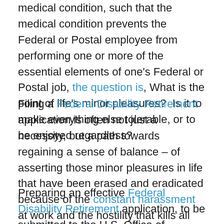medical condition, such that the medical condition prevents the Federal or Postal employee from performing one or more of the essential elements of one's Federal or Postal job, the question is, What is the point of life's minor pleasures?  Is it to make everything else tolerable, or to be enjoyed regardless?
Filing a Federal Disability Retirement application is often not just a necessity, but a path towards regaining a sense of balance – of asserting those minor pleasures in life that have been erased and eradicated because of the constant harassment at work and the hostility that kills all joy.
Preparing an effective Federal Disability Retirement application, to be submitted to the U.S. Office of Personnel Management, is just the first step in the long road towards getting an approval from OPM. But it is a worthwhile step